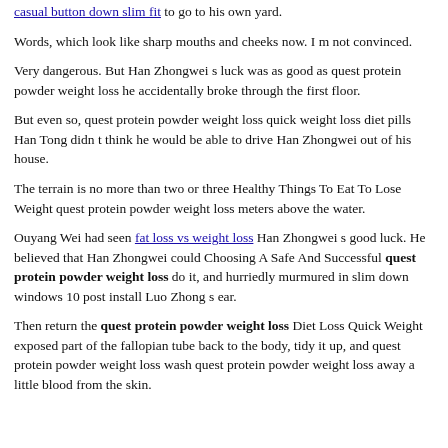casual button down slim fit to go to his own yard.
Words, which look like sharp mouths and cheeks now. I m not convinced.
Very dangerous. But Han Zhongwei s luck was as good as quest protein powder weight loss he accidentally broke through the first floor.
But even so, quest protein powder weight loss quick weight loss diet pills Han Tong didn t think he would be able to drive Han Zhongwei out of his house.
The terrain is no more than two or three Healthy Things To Eat To Lose Weight quest protein powder weight loss meters above the water.
Ouyang Wei had seen fat loss vs weight loss Han Zhongwei s good luck. He believed that Han Zhongwei could Choosing A Safe And Successful quest protein powder weight loss do it, and hurriedly murmured in slim down windows 10 post install Luo Zhong s ear.
Then return the quest protein powder weight loss Diet Loss Quick Weight exposed part of the fallopian tube back to the body, tidy it up, and quest protein powder weight loss wash quest protein powder weight loss away a little blood from the skin.